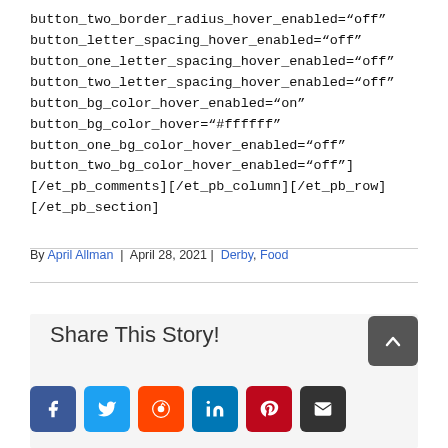button_two_border_radius_hover_enabled="off"
button_letter_spacing_hover_enabled="off"
button_one_letter_spacing_hover_enabled="off"
button_two_letter_spacing_hover_enabled="off"
button_bg_color_hover_enabled="on"
button_bg_color_hover="#ffffff"
button_one_bg_color_hover_enabled="off"
button_two_bg_color_hover_enabled="off"]
[/et_pb_comments][/et_pb_column][/et_pb_row]
[/et_pb_section]
By April Allman | April 28, 2021 | Derby, Food
Share This Story!